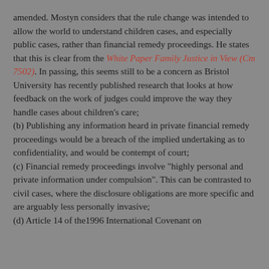amended. Mostyn considers that the rule change was intended to allow the world to understand children cases, and especially public cases, rather than financial remedy proceedings. He states that this is clear from the White Paper Family Justice in View (Cm 7502). In passing, this seems still to be a concern as Bristol University has recently published research that looks at how feedback on the work of judges could improve the way they handle cases about children's care;
(b) Publishing any information heard in private financial remedy proceedings would be a breach of the implied undertaking as to confidentiality, and would be contempt of court;
(c) Financial remedy proceedings involve "highly personal and private information under compulsion". This can be contrasted to civil cases, where the disclosure obligations are more specific and are arguably less personally invasive;
(d) Article 14 of the1996 International Covenant on